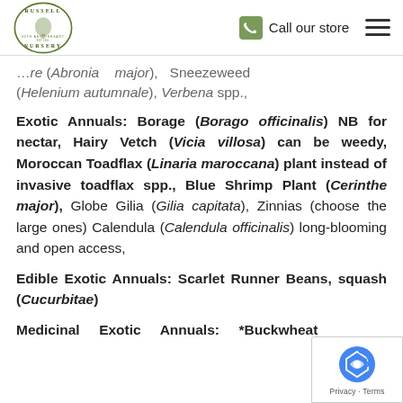Russell Nursery — 30th Anniversary. Call our store.
...re (Abronia major), Sneezeweed (Helenium autumnale), Verbena spp.,
Exotic Annuals: Borage (Borago officinalis) NB for nectar, Hairy Vetch (Vicia villosa) can be weedy, Moroccan Toadflax (Linaria maroccana) plant instead of invasive toadflax spp., Blue Shrimp Plant (Cerinthe major), Globe Gilia (Gilia capitata), Zinnias (choose the large ones) Calendula (Calendula officinalis) long-blooming and open access,
Edible Exotic Annuals: Scarlet Runner Beans, squash (Cucurbitae)
Medicinal Exotic Annuals: *Buckwheat